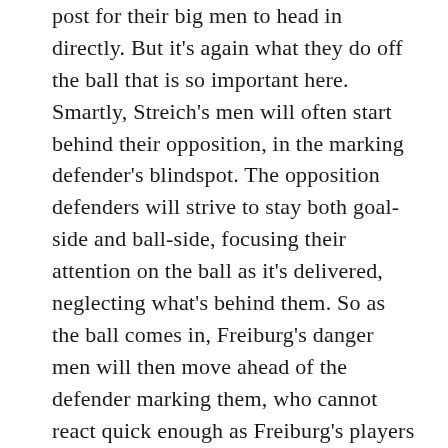post for their big men to head in directly. But it's again what they do off the ball that is so important here. Smartly, Streich's men will often start behind their opposition, in the marking defender's blindspot. The opposition defenders will strive to stay both goal-side and ball-side, focusing their attention on the ball as it's delivered, neglecting what's behind them. So as the ball comes in, Freiburg's danger men will then move ahead of the defender marking them, who cannot react quick enough as Freiburg's players appear out of nowhere to head home the ball or flick it onto the back-post for someone else. The sheer power of delivery from Gunter in particular will often mean that even if a Freiburg player doesn't get the first touch, an opposition player can't clear the ball away either. The ball will then bobble up and fall to one of Freiburg's many warriors. Many of their goals are not pretty, but they are highly effective at making their moments